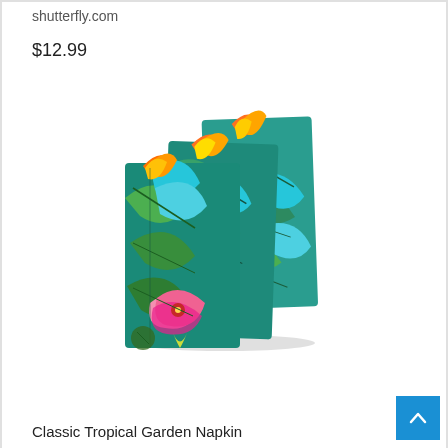shutterfly.com
$12.99
[Figure (photo): Three folded napkins with a colorful tropical garden print featuring bird of paradise flowers, hibiscus blooms, and large green banana leaves in teal, orange, pink, yellow, and green tones.]
Classic Tropical Garden Napkin